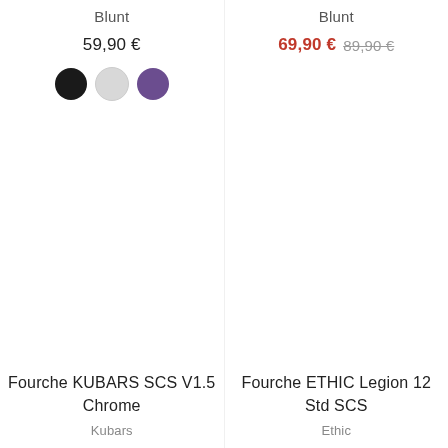Blunt
59,90 €
[Figure (illustration): Three color swatches: black, light gray, and purple circles]
Fourche KUBARS SCS V1.5 Chrome
Kubars
Blunt
69,90 € 89,90 €
Fourche ETHIC Legion 12 Std SCS
Ethic